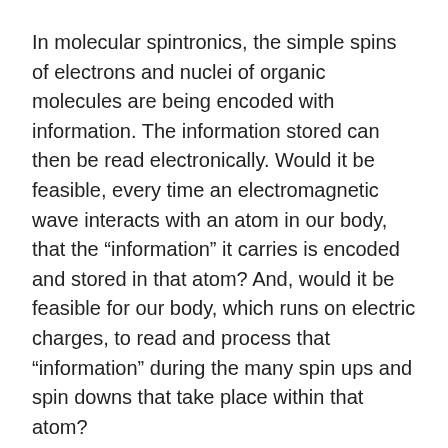In molecular spintronics, the simple spins of electrons and nuclei of organic molecules are being encoded with information. The information stored can then be read electronically. Would it be feasible, every time an electromagnetic wave interacts with an atom in our body, that the “information” it carries is encoded and stored in that atom? And, would it be feasible for our body, which runs on electric charges, to read and process that “information” during the many spin ups and spin downs that take place within that atom?
If information from our environment and from the people around us can be encoded, stored and processed in our atoms, that would help to explain, at the most basic level, how our bodies work and how they react to factors in our lives. When someone is angry with us or when someone